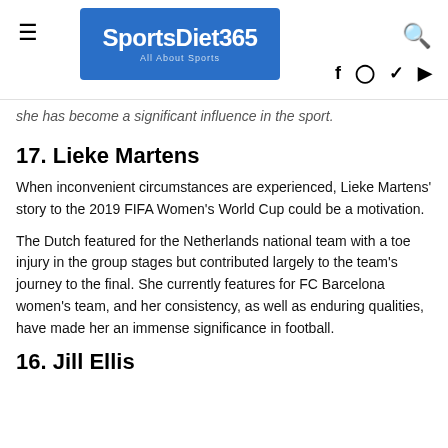SportsDiet365 — All About Sports
she has become a significant influence in the sport.
17. Lieke Martens
When inconvenient circumstances are experienced, Lieke Martens' story to the 2019 FIFA Women's World Cup could be a motivation.
The Dutch featured for the Netherlands national team with a toe injury in the group stages but contributed largely to the team's journey to the final. She currently features for FC Barcelona women's team, and her consistency, as well as enduring qualities, have made her an immense significance in football.
16. Jill Ellis